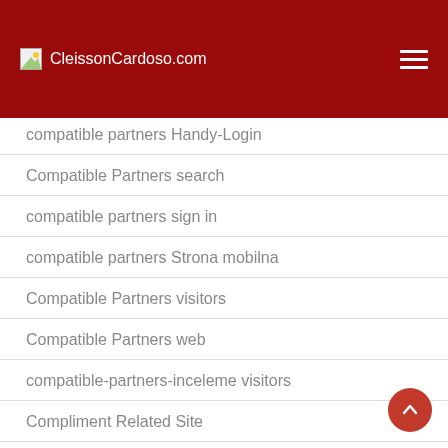CleissonCardoso.com
compatible partners Handy-Login
Compatible Partners search
compatible partners sign in
compatible partners Strona mobilna
Compatible Partners visitors
Compatible Partners web
compatible-partners-inceleme visitors
Compliment Related Site